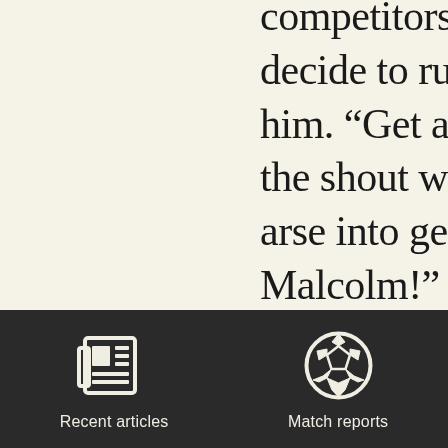competitors simply ha decide to run quicker t him. “Get a move on M the shout would go, “G arse into gear and run. Malcolm!”

Athletics, Football and honest most other thin multi-polar and when runs as well as Usain B then how do you catch
[Figure (illustration): Dark navigation bar with two icons: a newspaper icon labeled 'Recent articles' and a soccer ball icon labeled 'Match reports']